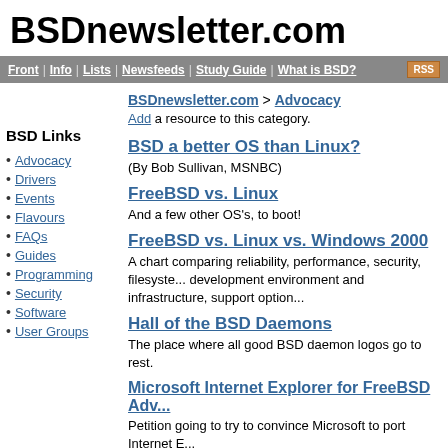BSDnewsletter.com
Front | Info | Lists | Newsfeeds | Study Guide | What is BSD? RSS
BSDnewsletter.com > Advocacy
Add a resource to this category.
BSD Links
Advocacy
Drivers
Events
Flavours
FAQs
Guides
Programming
Security
Software
User Groups
BSD a better OS than Linux?
(By Bob Sullivan, MSNBC)
FreeBSD vs. Linux
And a few other OS's, to boot!
FreeBSD vs. Linux vs. Windows 2000
A chart comparing reliability, performance, security, filesystem, development environment and infrastructure, support option...
Hall of the BSD Daemons
The place where all good BSD daemon logos go to rest.
Microsoft Internet Explorer for FreeBSD Adv...
Petition going to try to convince Microsoft to port Internet E...
Performance Comparison and Tuning of Free...